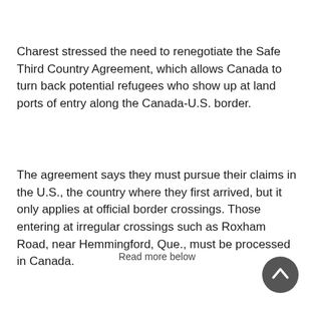Charest stressed the need to renegotiate the Safe Third Country Agreement, which allows Canada to turn back potential refugees who show up at land ports of entry along the Canada-U.S. border.
The agreement says they must pursue their claims in the U.S., the country where they first arrived, but it only applies at official border crossings. Those entering at irregular crossings such as Roxham Road, near Hemmingford, Que., must be processed in Canada.
Read more below